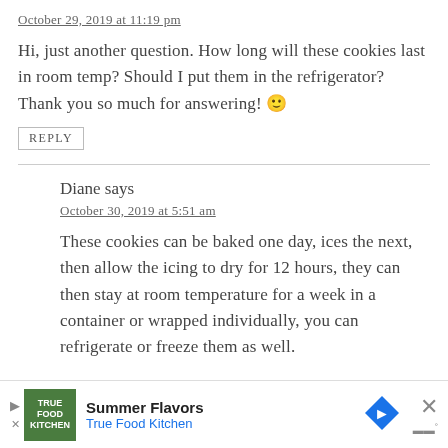October 29, 2019 at 11:19 pm
Hi, just another question. How long will these cookies last in room temp? Should I put them in the refrigerator? Thank you so much for answering! 🙂
REPLY
Diane says
October 30, 2019 at 5:51 am
These cookies can be baked one day, ices the next, then allow the icing to dry for 12 hours, they can then stay at room temperature for a week in a container or wrapped individually, you can refrigerate or freeze them as well.
[Figure (infographic): Advertisement banner for True Food Kitchen Summer Flavors with logo, navigation arrow icon, and close button]